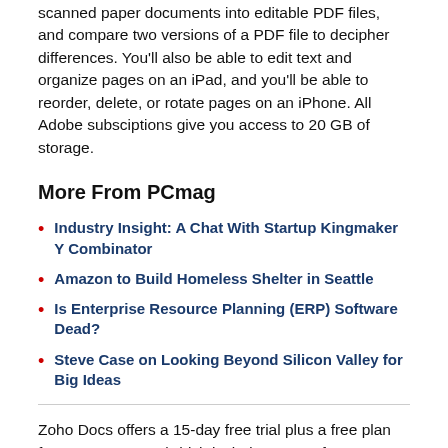scanned paper documents into editable PDF files, and compare two versions of a PDF file to decipher differences. You'll also be able to edit text and organize pages on an iPad, and you'll be able to reorder, delete, or rotate pages on an iPhone. All Adobe subsciptions give you access to 20 GB of storage.
More From PCmag
Industry Insight: A Chat With Startup Kingmaker Y Combinator
Amazon to Build Homeless Shelter in Seattle
Is Enterprise Resource Planning (ERP) Software Dead?
Steve Case on Looking Beyond Silicon Valley for Big Ideas
Zoho Docs offers a 15-day free trial plus a free plan for up to 25 users (which includes 5 GB of storage per user). The free plan also includes unlimited file and folder sharing, desktop sync, editing tools, user management, and version history. The Standard plan costs $5 per user per month